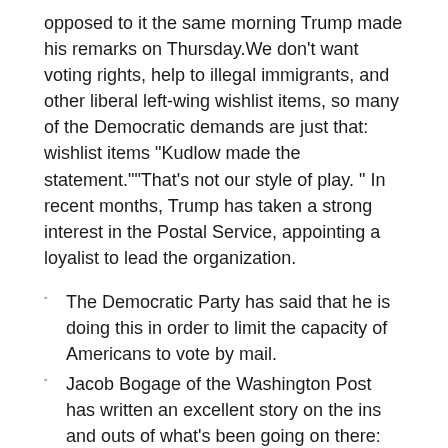opposed to it the same morning Trump made his remarks on Thursday.We don't want voting rights, help to illegal immigrants, and other liberal left-wing wishlist items, so many of the Democratic demands are just that: wishlist items "Kudlow made the statement.""That's not our style of play. " In recent months, Trump has taken a strong interest in the Postal Service, appointing a loyalist to lead the organization.
The Democratic Party has said that he is doing this in order to limit the capacity of Americans to vote by mail.
Jacob Bogage of the Washington Post has written an excellent story on the ins and outs of what's been going on there: Hours earlier, House Democrats stepped up their requests